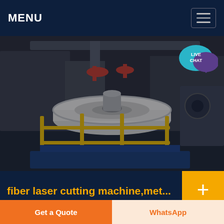MENU
[Figure (photo): Industrial factory scene showing a large circular white machine component on a blue platform, surrounded by yellow metal railings. Overhead cranes and industrial equipment visible in background.]
fiber laser cutting machine,met...
BODOR laser is specialized in RD and manufacturing of fiber laser cutting machine,metal fiber laser cutting
Get a Quote | WhatsApp